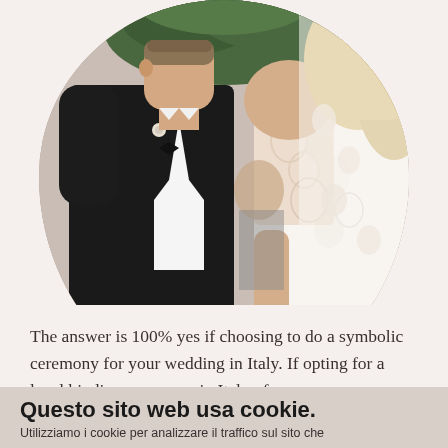[Figure (photo): A wedding couple holding hands. The groom is on the left wearing a black tuxedo with a bow tie and white boutonniere. The bride is on the right wearing a white lace gown with floral details and a veil. They face each other holding hands in a ceremony setting with greenery in the background. The photo is displayed in a circular/oval crop.]
The answer is 100% yes if choosing to do a symbolic ceremony for your wedding in Italy. If opting for a legal binding ceremony in Italy , for some  nationalities it is possible to tie the knot
Questo sito web usa cookie.
Utilizziamo i cookie per analizzare il traffico sul sito che